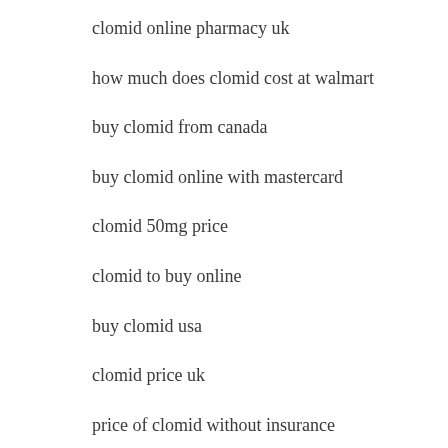clomid online pharmacy uk
how much does clomid cost at walmart
buy clomid from canada
buy clomid online with mastercard
clomid 50mg price
clomid to buy online
buy clomid usa
clomid price uk
price of clomid without insurance
clomid sale online